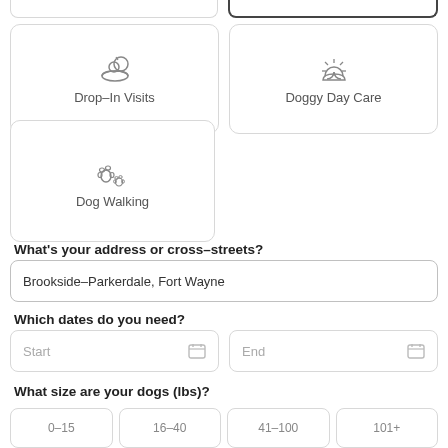[Figure (screenshot): Partial top cards cut off at top]
[Figure (screenshot): Drop-In Visits service card with icon]
[Figure (screenshot): Doggy Day Care service card with sun icon]
[Figure (screenshot): Dog Walking service card with paw prints icon]
What's your address or cross-streets?
Brookside–Parkerdale, Fort Wayne
Which dates do you need?
Start
End
What size are your dogs (lbs)?
0-15   16-40   41-100   101+